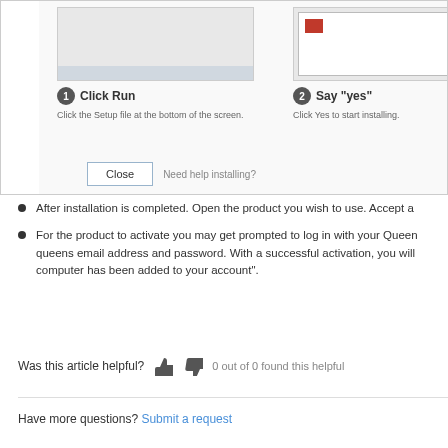[Figure (screenshot): Installation steps panel showing step 1 (Click Run), step 2 (Say yes), step 3 (partially visible), with a Close button and 'Need help installing?' link]
After installation is completed. Open the product you wish to use. Accept a
For the product to activate you may get prompted to log in with your Queens email address and password. With a successful activation, you will computer has been added to your account".
Was this article helpful?  0 out of 0 found this helpful
Have more questions? Submit a request